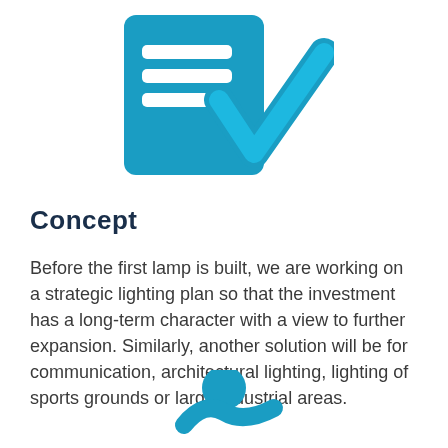[Figure (illustration): Blue icon showing a document or checklist with horizontal lines and a large blue checkmark overlapping it]
Concept
Before the first lamp is built, we are working on a strategic lighting plan so that the investment has a long-term character with a view to further expansion. Similarly, another solution will be for communication, architectural lighting, lighting of sports grounds or large industrial areas.
[Figure (illustration): Blue icon showing a stylized human figure in a dynamic pose (partially visible at bottom of page)]